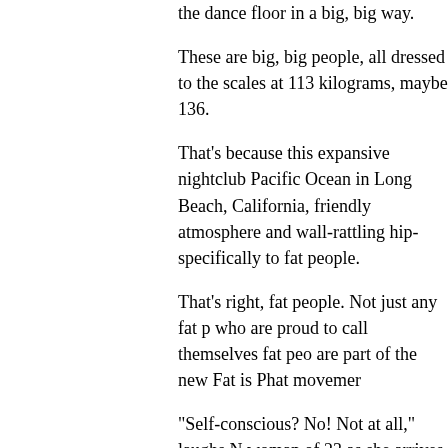the dance floor in a big, big way.
These are big, big people, all dressed to the scales at 113 kilograms, maybe 136.
That's because this expansive nightclub Pacific Ocean in Long Beach, California, friendly atmosphere and wall-rattling hip- specifically to fat people.
That's right, fat people. Not just any fat p who are proud to call themselves fat peo are part of the new Fat is Phat movemer
"Self-conscious? No! Not at all," laughs N woman of 23 as she arrives in a tight, bla like, 'I'm going to Club Bounce tonight. I'r skirt'." (Which she did.)
The movement for equal rights for plus-s course. The National Association to Adva chapters around the country, was founde group, it advocates that everyone be trea size, arguing that we don't live in a one-s
But what has been slower coming, fat ac Club Bounce, where people who might...